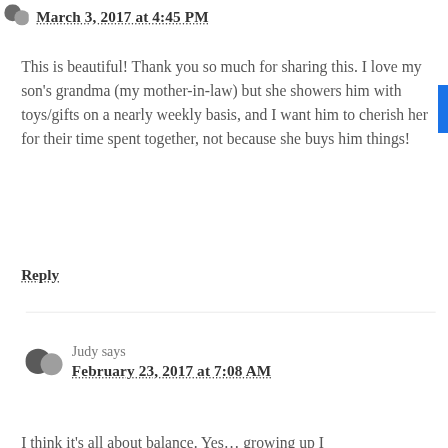March 3, 2017 at 4:45 PM
This is beautiful! Thank you so much for sharing this. I love my son's grandma (my mother-in-law) but she showers him with toys/gifts on a nearly weekly basis, and I want him to cherish her for their time spent together, not because she buys him things!
Reply
Judy says
February 23, 2017 at 7:08 AM
I think it's all about balance. Yes… growing up I